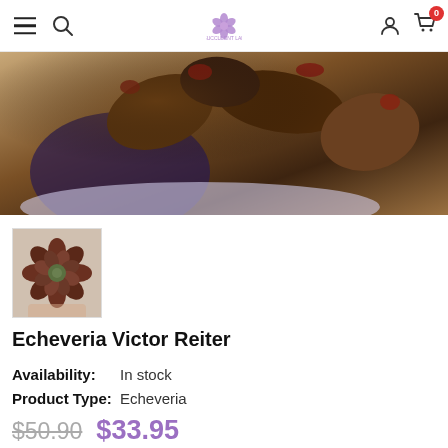Navigation bar with hamburger menu, search, logo, account, and cart (0 items)
[Figure (photo): Close-up photo of Echeveria Victor Reiter succulent plant being held, showing dark reddish-green leaves with red tips, photographed outdoors]
[Figure (photo): Thumbnail image of Echeveria Victor Reiter showing a small rosette succulent with dark reddish-purple leaves]
Echeveria Victor Reiter
Availability: In stock
Product Type: Echeveria
$50.90  $33.95